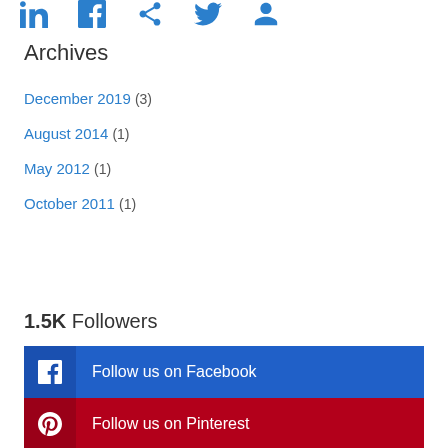[Figure (illustration): Row of social media icons in blue at the top of the page: LinkedIn, Facebook, another Facebook-style icon, Twitter/chat bubble, and a search/account icon]
Archives
December 2019 (3)
August 2014 (1)
May 2012 (1)
October 2011 (1)
1.5K Followers
Follow us on Facebook
Follow us on Pinterest
Follow us on Instagram
Follow us on LinkedIn (partial)